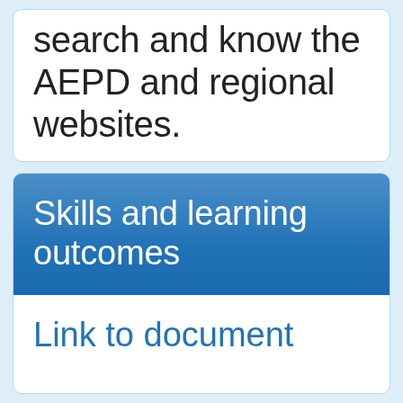search and know the AEPD and regional websites.
Skills and learning outcomes
Link to document